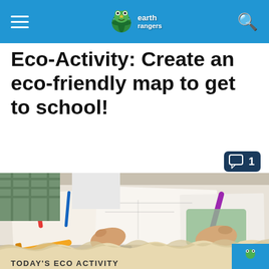Earth Rangers
Eco-Activity: Create an eco-friendly map to get to school!
1
[Figure (photo): Children sitting at a table drawing maps on paper with markers; one child in green sweater writing with a purple marker; torn paper effect at bottom with text 'TODAY'S ECO ACTIVITY']